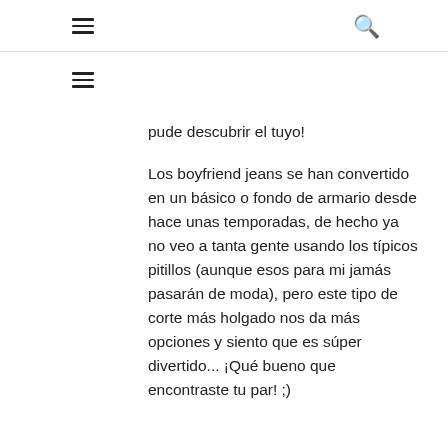≡  🔍
pude descubrir el tuyo!
Los boyfriend jeans se han convertido en un básico o fondo de armario desde hace unas temporadas, de hecho ya no veo a tanta gente usando los típicos pitillos (aunque esos para mi jamás pasarán de moda), pero este tipo de corte más holgado nos da más opciones y siento que es súper divertido... ¡Qué bueno que encontraste tu par! ;)